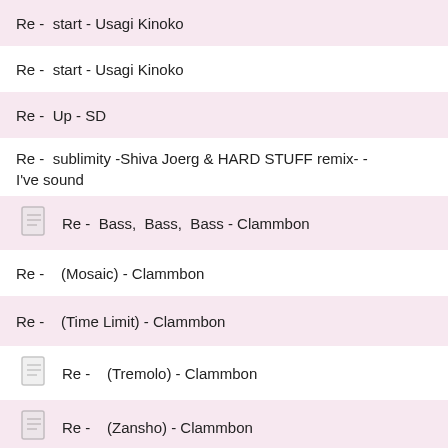Re -  start - Usagi Kinoko
Re -  start - Usagi Kinoko
Re -  Up - SD
Re -  sublimity -Shiva Joerg & HARD STUFF remix- - I've sound
Re -  Bass, Bass, Bass - Clammbon
Re -    (Mosaic) - Clammbon
Re -    (Time Limit) - Clammbon
Re -    (Tremolo) - Clammbon
Re -    (Zansho) - Clammbon